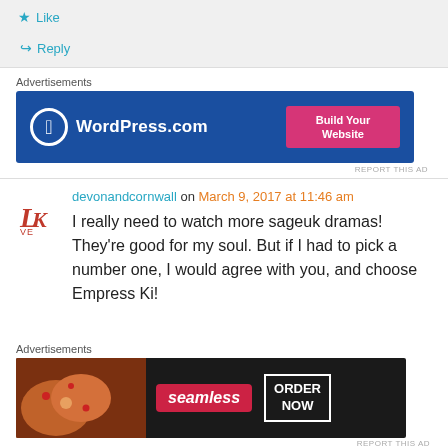⭐ Like
↪ Reply
Advertisements
[Figure (screenshot): WordPress.com advertisement banner with blue background, WordPress logo on left and 'Build Your Website' pink button on right]
REPORT THIS AD
devonandcornwall on March 9, 2017 at 11:46 am
I really need to watch more sageuk dramas! They're good for my soul. But if I had to pick a number one, I would agree with you, and choose Empress Ki!
Advertisements
[Figure (screenshot): Seamless food delivery advertisement with pizza image on left, seamless logo in red and 'ORDER NOW' button on right, dark background]